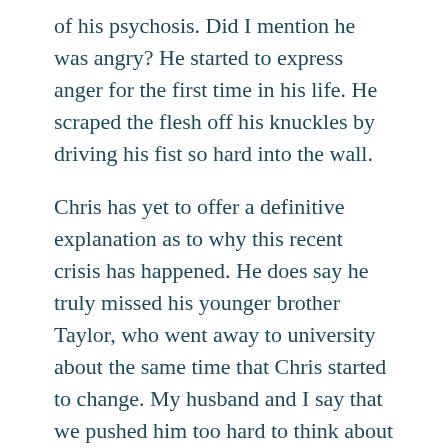of his psychosis. Did I mention he was angry? He started to express anger for the first time in his life. He scraped the flesh off his knuckles by driving his fist so hard into the wall.
Chris has yet to offer a definitive explanation as to why this recent crisis has happened. He does say he truly missed his younger brother Taylor, who went away to university about the same time that Chris started to change. My husband and I say that we pushed him too hard to think about returning to university full time. Our expectations likely frightened him. Other people had expectations, too. Chris's voice teacher encouraged him to fulfill his considerable potential as a vocalist. I believe